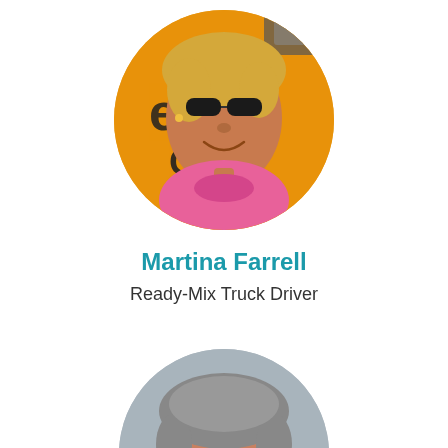[Figure (photo): Circular profile photo of Martina Farrell — a woman with blonde hair and dark sunglasses, wearing a pink t-shirt, standing in front of a yellow truck or vehicle with text 'GW 7' visible.]
Martina Farrell
Ready-Mix Truck Driver
[Figure (photo): Circular profile photo of a man with short grey hair, wearing glasses, against a grey background. Only the upper portion of the circle is visible.]